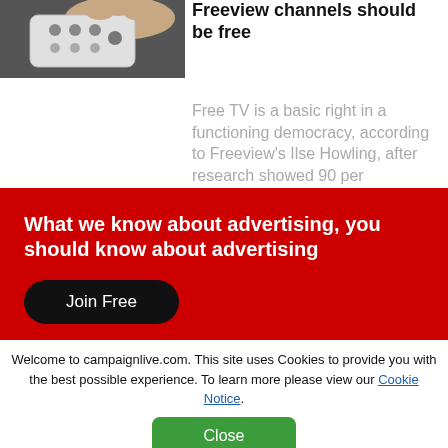[Figure (photo): Hand holding a TV remote control, gray/white remote]
Freeview channels should be free
Free TV is a basic right in a functioning democracy, according to Freeview's Ilse Howling, after research showed 90 per
What we know about advertising, you should know about advertising
Join Free
Welcome to campaignlive.com. This site uses Cookies to provide you with the best possible experience. To learn more please view our Cookie Notice.
Close